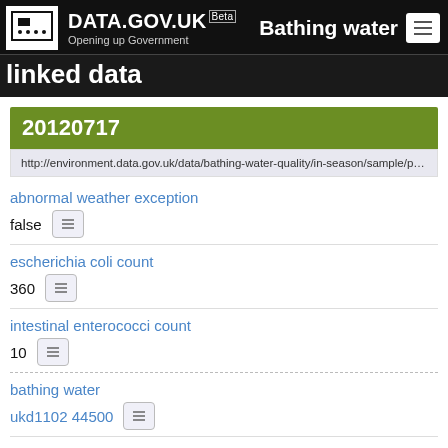DATA.GOV.UK Beta — Bathing water linked data
20120717
http://environment.data.gov.uk/data/bathing-water-quality/in-season/sample/point/44500/date/20120717/time/113000/recordDate/201
abnormal weather exception
false
escherichia coli count
360
intestinal enterococci count
10
bathing water
ukd1102 44500
escherichia coli qualifier
actual
http://environment.data.gov.uk/def/bathing-water-quality/actual